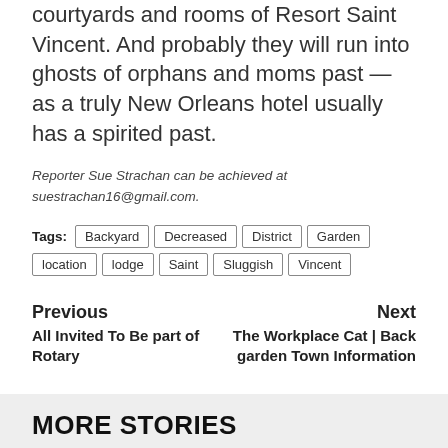courtyards and rooms of Resort Saint Vincent. And probably they will run into ghosts of orphans and moms past — as a truly New Orleans hotel usually has a spirited past.
Reporter Sue Strachan can be achieved at suestrachan16@gmail.com.
Tags: Backyard  Decreased  District  Garden  location  lodge  Saint  Sluggish  Vincent
Previous
All Invited To Be part of Rotary
Next
The Workplace Cat | Back garden Town Information
MORE STORIES